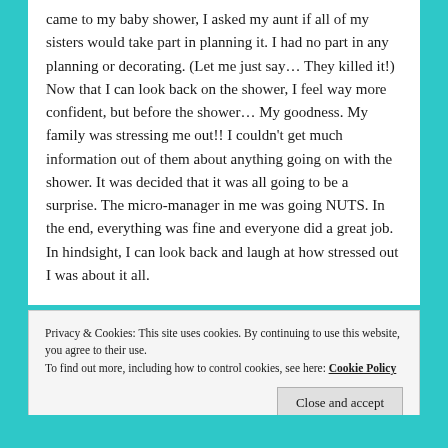came to my baby shower, I asked my aunt if all of my sisters would take part in planning it. I had no part in any planning or decorating. (Let me just say… They killed it!) Now that I can look back on the shower, I feel way more confident, but before the shower… My goodness. My family was stressing me out!! I couldn't get much information out of them about anything going on with the shower. It was decided that it was all going to be a surprise. The micro-manager in me was going NUTS. In the end, everything was fine and everyone did a great job. In hindsight, I can look back and laugh at how stressed out I was about it all.
Privacy & Cookies: This site uses cookies. By continuing to use this website, you agree to their use. To find out more, including how to control cookies, see here: Cookie Policy
Close and accept